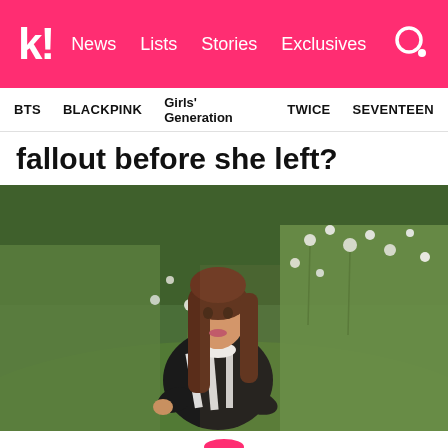k! News Lists Stories Exclusives
BTS  BLACKPINK  Girls' Generation  TWICE  SEVENTEEN
fallout before she left?
[Figure (photo): A young woman with long brown hair wearing a black and white striped outfit, sitting among tall green plants and white wildflowers in an outdoor field setting.]